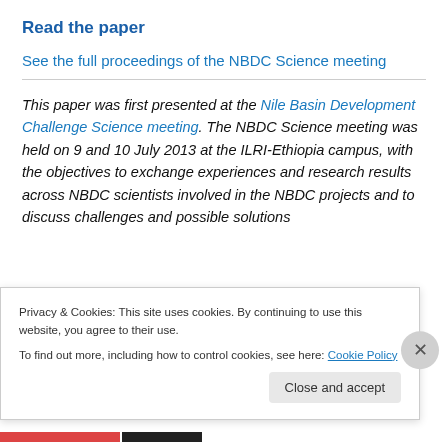Read the paper
See the full proceedings of the NBDC Science meeting
This paper was first presented at the Nile Basin Development Challenge Science meeting. The NBDC Science meeting was held on 9 and 10 July 2013 at the ILRI-Ethiopia campus, with the objectives to exchange experiences and research results across NBDC scientists involved in the NBDC projects and to discuss challenges and possible solutions
Privacy & Cookies: This site uses cookies. By continuing to use this website, you agree to their use.
To find out more, including how to control cookies, see here: Cookie Policy